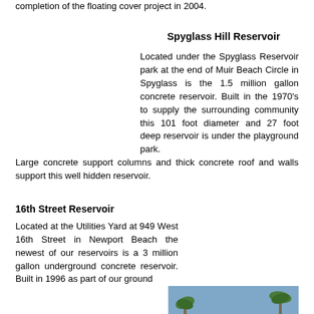completion of the floating cover project in 2004.
Spyglass Hill Reservoir
Located under the Spyglass Reservoir park at the end of Muir Beach Circle in Spyglass is the 1.5 million gallon concrete reservoir. Built in the 1970's to supply the surrounding community this 101 foot diameter and 27 foot deep reservoir is under the playground park. Large concrete support columns and thick concrete roof and walls support this well hidden reservoir.
16th Street Reservoir
Located at the Utilities Yard at 949 West 16th Street in Newport Beach the newest of our reservoirs is a 3 million gallon underground concrete reservoir. Built in 1996 as part of our ground
[Figure (photo): Photo of the 16th Street Reservoir facility showing a white concrete structure with a decorative seal/emblem, surrounded by palm trees and other vegetation, blue sky in the background.]